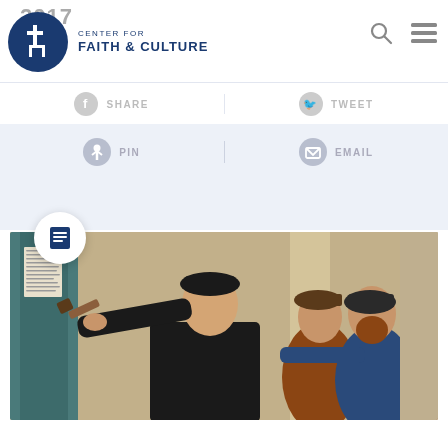2017
[Figure (logo): Center for Faith & Culture circular logo with building/cross icon in dark blue]
CENTER FOR FAITH & CULTURE
SHARE  TWEET
PIN  EMAIL
[Figure (photo): Painting of Martin Luther nailing his 95 Theses to the church door, holding a hammer, surrounded by observers, wearing black robes]